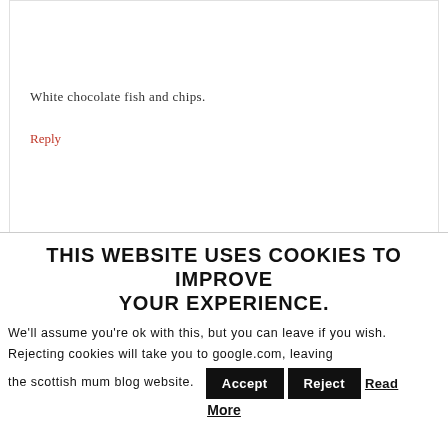White chocolate fish and chips.
Reply
THIS WEBSITE USES COOKIES TO IMPROVE YOUR EXPERIENCE.
We'll assume you're ok with this, but you can leave if you wish. Rejecting cookies will take you to google.com, leaving the scottish mum blog website.
Accept  Reject  Read More